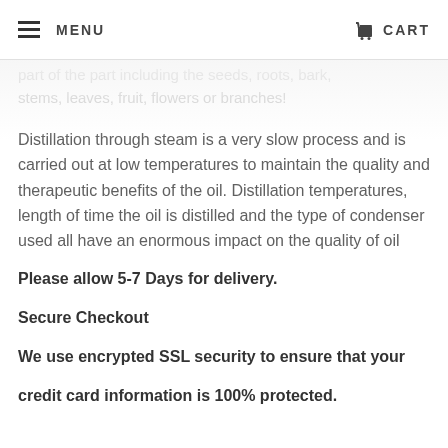MENU  CART
part of the part including the seeds, roots, bark, stems, leaves, fruit, flowers or branches!
Distillation through steam is a very slow process and is carried out at low temperatures to maintain the quality and therapeutic benefits of the oil. Distillation temperatures, length of time the oil is distilled and the type of condenser used all have an enormous impact on the quality of oil
Please allow 5-7 Days for delivery.
Secure Checkout
We use encrypted SSL security to ensure that your
credit card information is 100% protected.